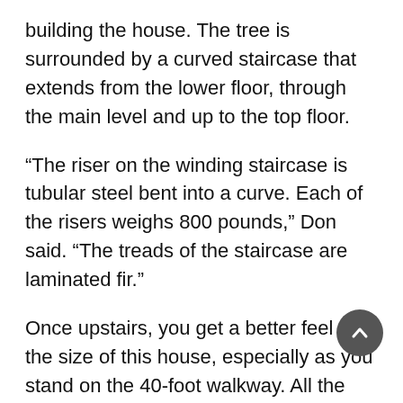building the house. The tree is surrounded by a curved staircase that extends from the lower floor, through the main level and up to the top floor.
“The riser on the winding staircase is tubular steel bent into a curve. Each of the risers weighs 800 pounds,” Don said. “The treads of the staircase are laminated fir.”
Once upstairs, you get a better feel for the size of this house, especially as you stand on the 40-foot walkway. All the railings inside are made of structural steel and hand-painted by Bev. Don designed the railings and fabricated everything on site.
“We had three companies come in and quote,” Don said, “but none of them could do what we wanted. It’s definitely one of a kind.”